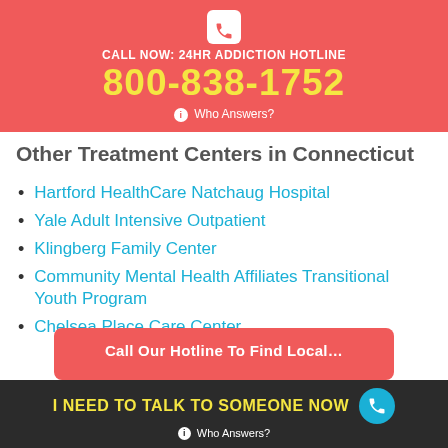CALL NOW: 24HR ADDICTION HOTLINE
800-838-1752
Who Answers?
Other Treatment Centers in Connecticut
Hartford HealthCare Natchaug Hospital
Yale Adult Intensive Outpatient
Klingberg Family Center
Community Mental Health Affiliates Transitional Youth Program
Chelsea Place Care Center
I NEED TO TALK TO SOMEONE NOW
Who Answers?